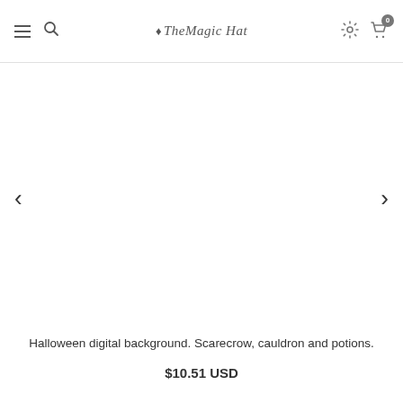TheMagicHat — navigation bar with hamburger, search, logo, settings, and cart icons
[Figure (other): Large white product image area with left and right navigation arrows for an e-commerce product carousel]
Halloween digital background. Scarecrow, cauldron and potions.
$10.51 USD